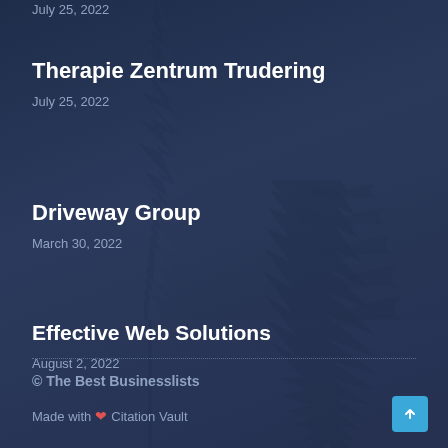July 25, 2022
Therapie Zentrum Trudering
July 25, 2022
Driveway Group
March 30, 2022
Effective Web Solutions
August 2, 2022
© The Best Businesslists
Made with ❤ Citation Vault